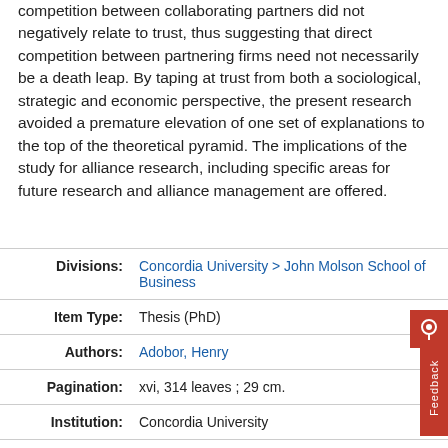competition between collaborating partners did not negatively relate to trust, thus suggesting that direct competition between partnering firms need not necessarily be a death leap. By taping at trust from both a sociological, strategic and economic perspective, the present research avoided a premature elevation of one set of explanations to the top of the theoretical pyramid. The implications of the study for alliance research, including specific areas for future research and alliance management are offered.
| Field | Value |
| --- | --- |
| Divisions: | Concordia University > John Molson School of Business |
| Item Type: | Thesis (PhD) |
| Authors: | Adobor, Henry |
| Pagination: | xvi, 314 leaves ; 29 cm. |
| Institution: | Concordia University |
| Degree Name: | Ph. D. |